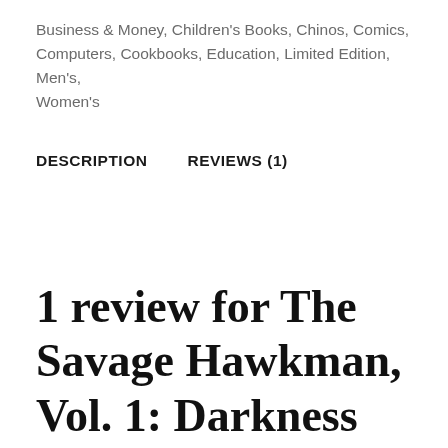Business & Money, Children's Books, Chinos, Comics, Computers, Cookbooks, Education, Limited Edition, Men's, Women's
DESCRIPTION
REVIEWS (1)
1 review for The Savage Hawkman, Vol. 1: Darkness Rising